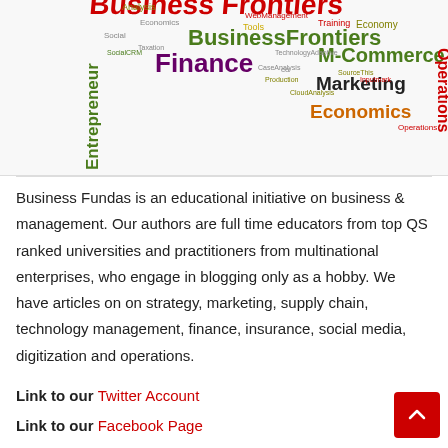[Figure (infographic): Word cloud with business and management related terms in various colors and sizes. Prominent words include BusinessFrontiers, Finance, M-Commerce, Marketing, Economics, Operations, Entrepreneur, and others in red, green, orange, yellow, purple and gray.]
Business Fundas is an educational initiative on business & management. Our authors are full time educators from top QS ranked universities and practitioners from multinational enterprises, who engage in blogging only as a hobby. We have articles on on strategy, marketing, supply chain, technology management, finance, insurance, social media, digitization and operations.
Link to our Twitter Account
Link to our Facebook Page
To partner with us, please email us at